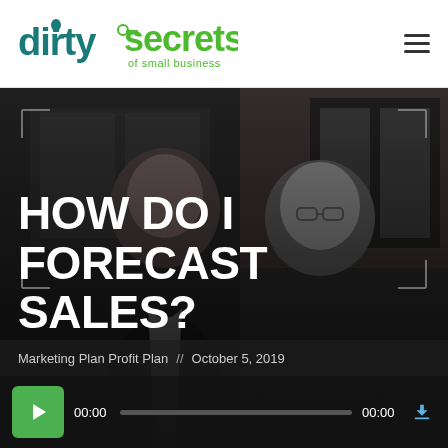dirty secrets of small business
[Figure (photo): Two bald men standing together, dark/moody background with brick wall and windows visible. Text overlay reads HOW DO I FORECAST SALES?]
HOW DO I FORECAST SALES?
Marketing Plan Profit Plan // October 5, 2019
[Figure (other): Audio player with green play button, time display 00:00, progress bar, end time 00:00, and download button]